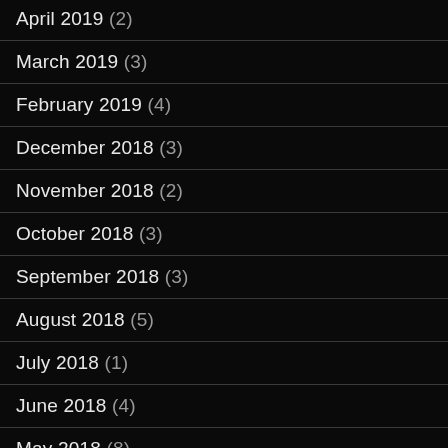April 2019 (2)
March 2019 (3)
February 2019 (4)
December 2018 (3)
November 2018 (2)
October 2018 (3)
September 2018 (3)
August 2018 (5)
July 2018 (1)
June 2018 (4)
May 2018 (8)
March 2018 (5)
February 2018 (4)